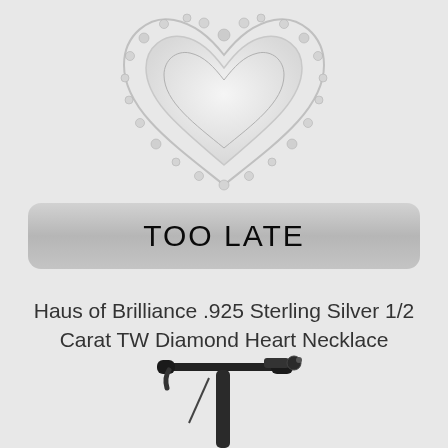[Figure (photo): Diamond heart necklace pendant with floral diamond border on light gray background, shown from above]
TOO LATE
Haus of Brilliance .925 Sterling Silver 1/2 Carat TW Diamond Heart Necklace
[Figure (photo): Black electric scooter handlebar and stem, partially visible at bottom of page]